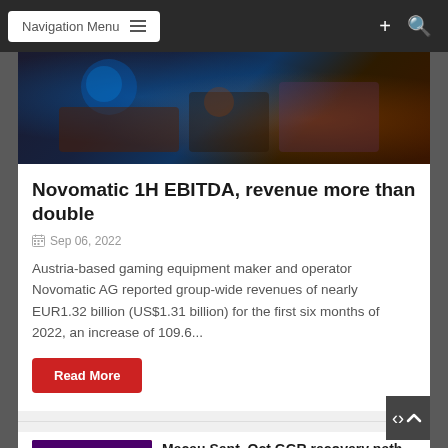Navigation Menu
[Figure (photo): Dark casino interior with blue and orange lighting]
Novomatic 1H EBITDA, revenue more than double
Sep 06, 2022
Austria-based gaming equipment maker and operator Novomatic AG reported group-wide revenues of nearly EUR1.32 billion (US$1.31 billion) for the first six months of 2022, an increase of 109.6...
Read More
[Figure (photo): Casino card table with playing cards and chips]
Macau Sept, Oct GGR recovery path uncertain: Bernstein
Sep 06, 2022